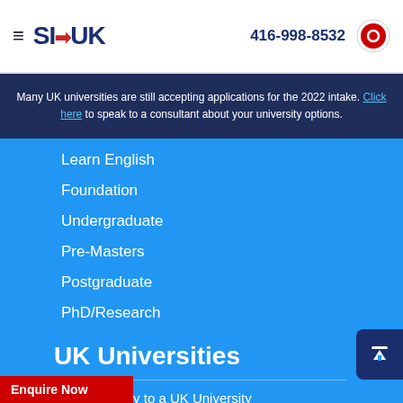SI-UK | 416-998-8532
Many UK universities are still accepting applications for the 2022 intake. Click here to speak to a consultant about your university options.
Learn English
Foundation
Undergraduate
Pre-Masters
Postgraduate
PhD/Research
UK Universities
How to Apply to a UK University
Subject Rankings
University Rankings
Top Universities
Universities A-Z
University Map